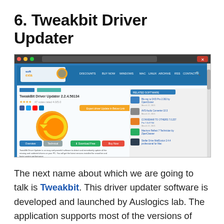6. Tweakbit Driver Updater
[Figure (screenshot): Screenshot of the Softexia website showing the TweakBit Driver Updater 2.2.4.56134 download page, with the software logo (orange circular arrow icon), social media share buttons, download/buy buttons, star rating, and a sidebar showing related software listings.]
The next name about which we are going to talk is Tweakbit. This driver updater software is developed and launched by Auslogics lab. The application supports most of the versions of windows. You need to install this easy-to-use